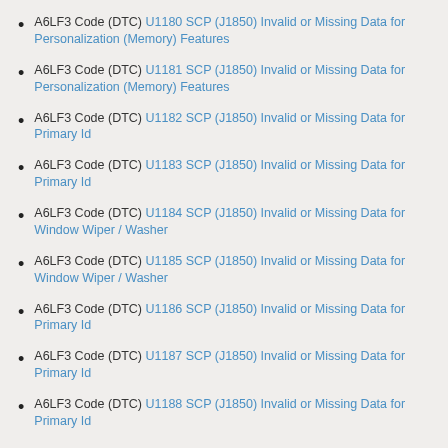A6LF3 Code (DTC) U1180 SCP (J1850) Invalid or Missing Data for Personalization (Memory) Features
A6LF3 Code (DTC) U1181 SCP (J1850) Invalid or Missing Data for Personalization (Memory) Features
A6LF3 Code (DTC) U1182 SCP (J1850) Invalid or Missing Data for Primary Id
A6LF3 Code (DTC) U1183 SCP (J1850) Invalid or Missing Data for Primary Id
A6LF3 Code (DTC) U1184 SCP (J1850) Invalid or Missing Data for Window Wiper / Washer
A6LF3 Code (DTC) U1185 SCP (J1850) Invalid or Missing Data for Window Wiper / Washer
A6LF3 Code (DTC) U1186 SCP (J1850) Invalid or Missing Data for Primary Id
A6LF3 Code (DTC) U1187 SCP (J1850) Invalid or Missing Data for Primary Id
A6LF3 Code (DTC) U1188 SCP (J1850) Invalid or Missing Data for Primary Id